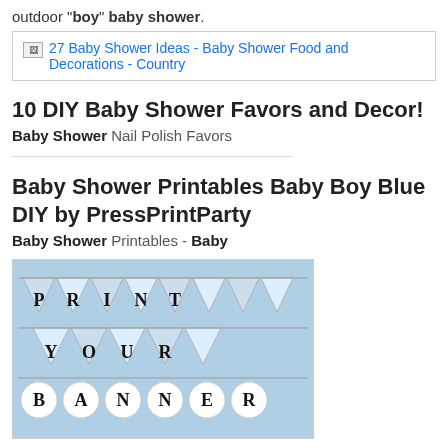outdoor "boy" baby shower.
[Figure (screenshot): Broken image placeholder with link text '27 Baby Shower Ideas - Baby Shower Food and Decorations - Country' in blue]
10 DIY Baby Shower Favors and Decor!
Baby Shower Nail Polish Favors
Baby Shower Printables Baby Boy Blue DIY by PressPrintParty
Baby Shower Printables - Baby
[Figure (photo): Photo of blue and white baby shower banner decoration spelling PRINT YOUR BANNER with triangular pennants and circular letter banners on blue background]